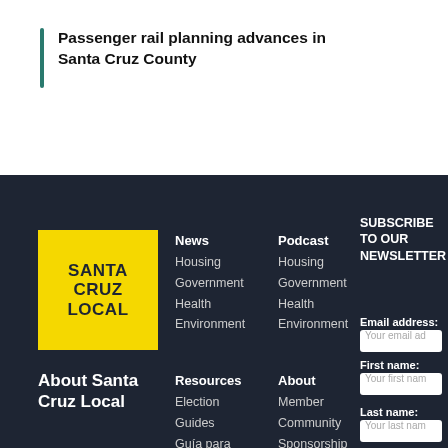Passenger rail planning advances in Santa Cruz County
[Figure (logo): Santa Cruz Local yellow square logo with black bold text reading SANTA CRUZ LOCAL]
News
Housing
Government
Health
Environment
Podcast
Housing
Government
Health
Environment
SUBSCRIBE TO OUR NEWSLETTER
Email address: Your email ad
First name: Your first nam
Last name: Your last nam
Resources
Election
Guides
Guía para
About
Member
Community
Sponsorship
About Santa Cruz Local